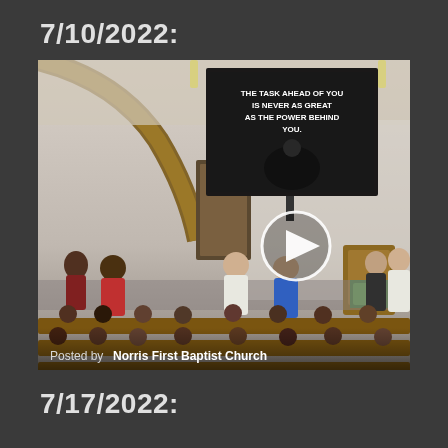7/10/2022:
[Figure (screenshot): Video thumbnail of a church service at Norris First Baptist Church. The interior shows wooden arch ceiling, a projection screen displaying 'THE TASK AHEAD OF YOU IS NEVER AS GREAT AS THE POWER BEHIND YOU.' with an image of a person kneeling. Several people are standing at the front of the church, congregation visible in pews. A white circle play button is overlaid in the center. Text at bottom reads 'Posted by Norris First Baptist Church'.]
Posted by Norris First Baptist Church
7/17/2022: